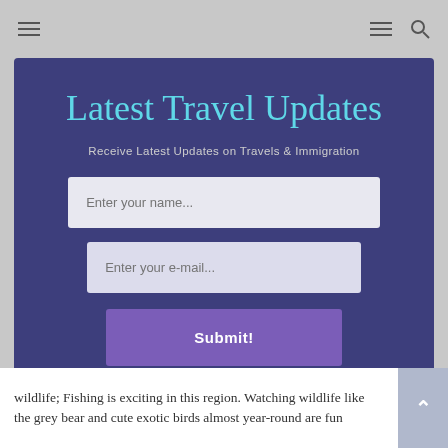[Figure (screenshot): Website navigation top bar with hamburger menu icons and search icon on grey background]
Latest Travel Updates
Receive Latest Updates on Travels & Immigration
[Figure (screenshot): Web form with name input field placeholder 'Enter your name...', email input field placeholder 'Enter your e-mail...', and a purple Submit! button on dark blue/purple modal background]
wildlife; Fishing is exciting in this region. Watching wildlife like the grey bear and cute exotic birds almost year-round are fun